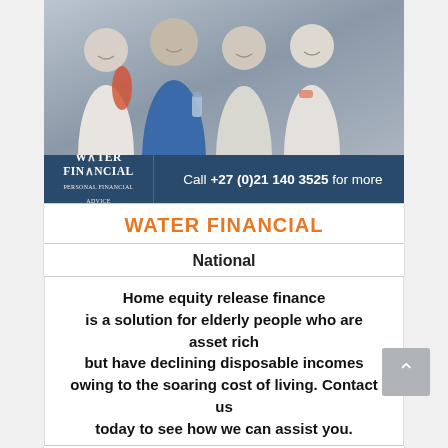[Figure (photo): Group of smiling elderly people in athletic wear posing together, with a Water Financial branded banner below showing phone number +27 (0)21 140 3525]
WATER FINANCIAL
National
Home equity release finance is a solution for elderly people who are asset rich but have declining disposable incomes owing to the soaring cost of living. Contact us today to see how we can assist you.
CLICK HERE